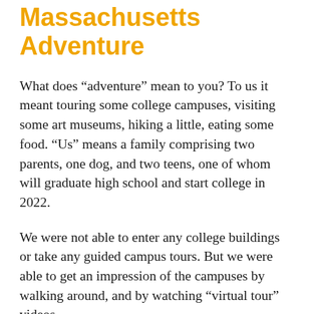Massachusetts Adventure
What does “adventure” mean to you? To us it meant touring some college campuses, visiting some art museums, hiking a little, eating some food. “Us” means a family comprising two parents, one dog, and two teens, one of whom will graduate high school and start college in 2022.
We were not able to enter any college buildings or take any guided campus tours. But we were able to get an impression of the campuses by walking around, and by watching “virtual tour” videos.